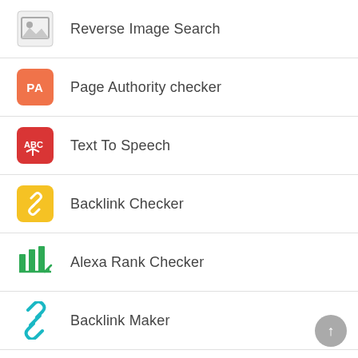Reverse Image Search
Page Authority checker
Text To Speech
Backlink Checker
Alexa Rank Checker
Backlink Maker
Domain Age Checker
Website Ping Tool